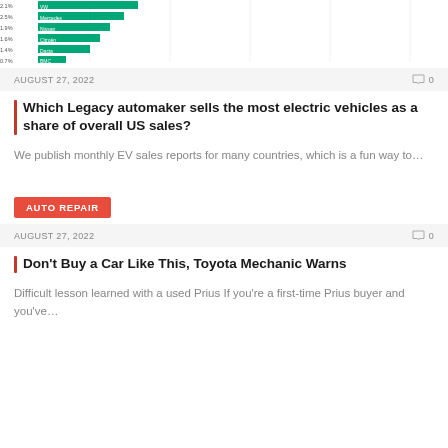[Figure (bar-chart): Partial horizontal bar chart showing EV share percentages for automakers including VW, Mercedes, Nissan, Citroën, Dacia, BMC, Toyota]
AUGUST 27, 2022   💬 0
Which Legacy automaker sells the most electric vehicles as a share of overall US sales?
We publish monthly EV sales reports for many countries, which is a fun way to…
AUTO REPAIR
AUGUST 27, 2022   💬 0
Don't Buy a Car Like This, Toyota Mechanic Warns
Difficult lesson learned with a used Prius If you're a first-time Prius buyer and you've…